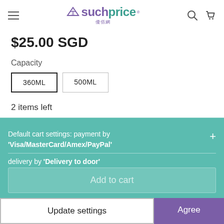suchprice
$25.00 SGD
Capacity
360ML  500ML
2 items left
ADD TO WISHLIST
Default cart settings: payment by 'Visa/MasterCard/Amex/PayPal' delivery by 'Delivery to door'
Add to cart
Update settings
Agree